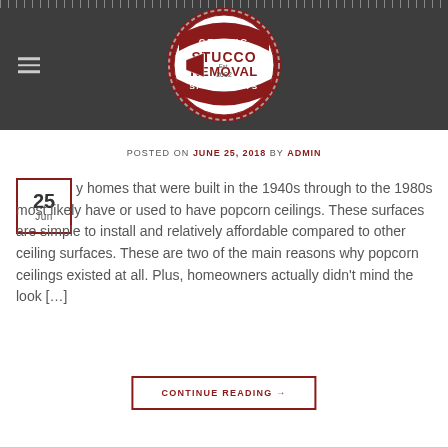[Figure (logo): Ceiling Stucco Removal Specialists Est. 2002 circular badge logo in red and white on dark background]
POSTED ON JUNE 25, 2018 BY ADMIN
25 Jun — homes that were built in the 1940s through to the 1980s most likely have or used to have popcorn ceilings. These surfaces are simple to install and relatively affordable compared to other ceiling surfaces. These are two of the main reasons why popcorn ceilings existed at all. Plus, homeowners actually didn't mind the look […]
CONTINUE READING →